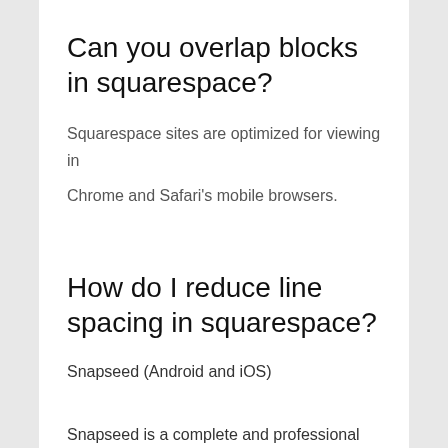Can you overlap blocks in squarespace?
Squarespace sites are optimized for viewing in Chrome and Safari's mobile browsers.
How do I reduce line spacing in squarespace?
Snapseed (Android and iOS)
Snapseed is a complete and professional photo